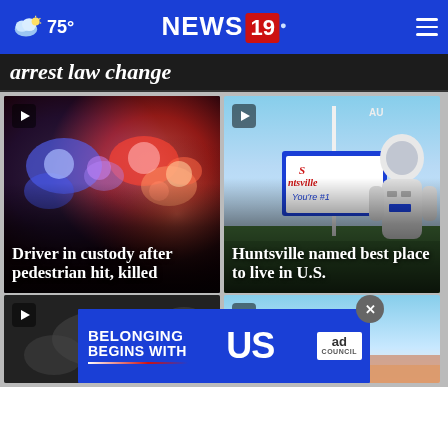NEWS 19 — 75°
arrest law change
[Figure (screenshot): Police car lights blurred blue and red — news card for 'Driver in custody after pedestrian hit, killed']
Driver in custody after pedestrian hit, killed
[Figure (screenshot): Huntsville welcome sign with astronaut — news card for 'Huntsville named best place to live in U.S.']
Huntsville named best place to live in U.S.
[Figure (screenshot): Dark video thumbnail — bottom left news card]
[Figure (screenshot): Sky/outdoor video thumbnail — bottom right news card]
[Figure (infographic): Ad Council banner: BELONGING BEGINS WITH US]